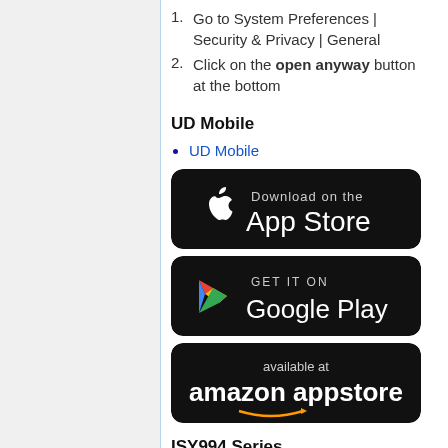1. Go to System Preferences | Security & Privacy | General
2. Click on the open anyway button at the bottom
UD Mobile
UD Mobile
[Figure (logo): Download on the App Store badge (black background, Apple logo, white text)]
[Figure (logo): Get it on Google Play badge (black background, Google Play triangle logo, white text)]
[Figure (logo): Available at Amazon Appstore badge (black background, Amazon logo, white text)]
ISY994 Series